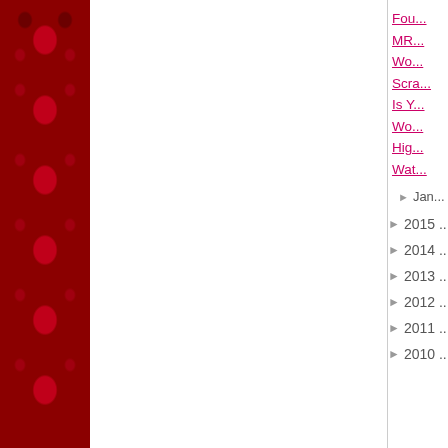[Figure (illustration): Red decorative damask/floral patterned sidebar on the left side of the page]
Fou...
MR...
Wo...
Scra...
Is Y...
Wo...
Hig...
Wat...
► Jan...
► 2015 ...
► 2014 ...
► 2013 ...
► 2012 ...
► 2011 ...
► 2010 ...